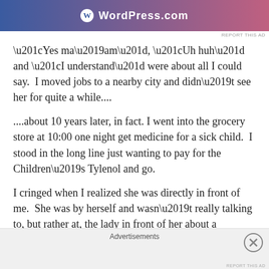[Figure (other): WordPress.com advertisement banner with logo and gradient background (blue to pink)]
“Yes ma’am”, “Uh huh” and “I understand” were about all I could say.  I moved jobs to a nearby city and didn’t see her for quite a while....
....about 10 years later, in fact. I went into the grocery store at 10:00 one night get medicine for a sick child.  I stood in the long line just wanting to pay for the Children’s Tylenol and go.
I cringed when I realized she was directly in front of me.  She was by herself and wasn’t really talking to, but rather at, the lady in front of her about a National Enquirer title.
The lady was trying to politely rid herself of the unwanted
Advertisements